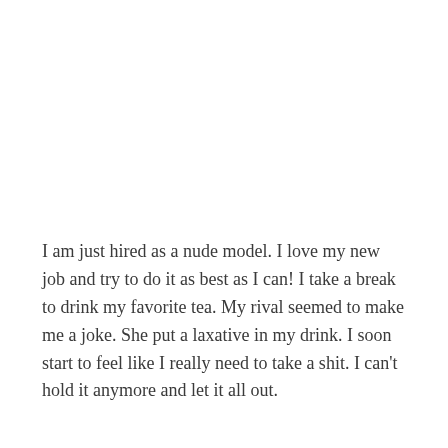I am just hired as a nude model. I love my new job and try to do it as best as I can! I take a break to drink my favorite tea. My rival seemed to make me a joke. She put a laxative in my drink. I soon start to feel like I really need to take a shit. I can't hold it anymore and let it all out.